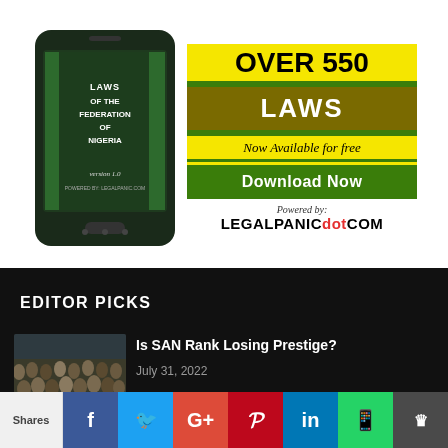[Figure (infographic): Advertisement banner: Phone showing 'Laws of the Federation of Nigeria version 1.0 powered by legalpanic.com' alongside yellow/olive/green banner reading 'Over 550 Laws Now Available for free Download Now Powered by: LEGALPANICdotCOM']
EDITOR PICKS
[Figure (photo): Thumbnail image of people in an assembly/parliament]
Is SAN Rank Losing Prestige?
July 31, 2022
Shares